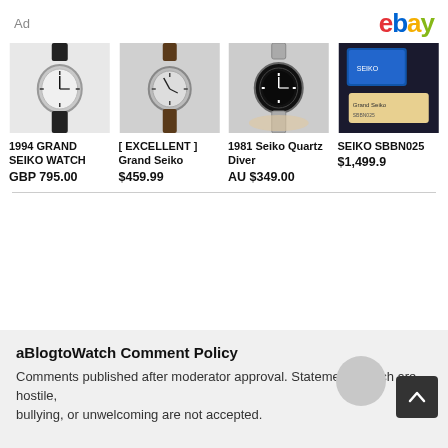Ad
[Figure (logo): eBay logo in multicolor]
[Figure (photo): 1994 Grand Seiko watch with black leather strap and white dial]
1994 GRAND SEIKO WATCH
GBP 795.00
[Figure (photo): Excellent Grand Seiko watch with brown leather strap]
[ EXCELLENT ] Grand Seiko
$459.99
[Figure (photo): 1981 Seiko Quartz Diver watch with black bezel on wrist]
1981 Seiko Quartz Diver
AU $349.00
[Figure (photo): SEIKO SBBN025 watch with box and accessories]
SEIKO SBBN025
$1,499.9
aBlogtoWatch Comment Policy
Comments published after moderator approval. Statements which are hostile, bullying, or unwelcoming are not accepted.